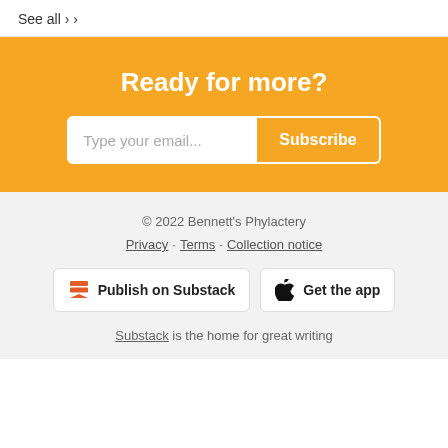See all ›
Ready for more?
Type your email... Subscribe
© 2022 Bennett's Phylactery
Privacy · Terms · Collection notice
Publish on Substack
Get the app
Substack is the home for great writing